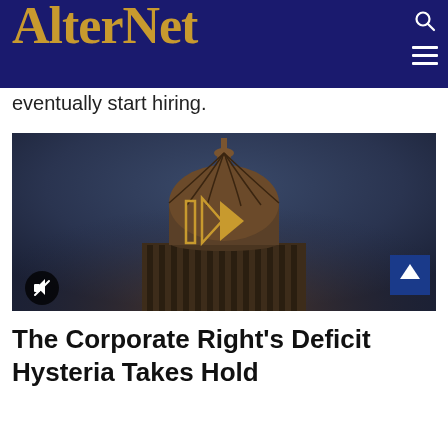AlterNet
eventually start hiring.
[Figure (photo): Video thumbnail showing the US Capitol Building dome at night/dusk with a dark blue-grey sky, with a golden play button overlay in the center]
The Corporate Right’s Deficit Hysteria Takes Hold